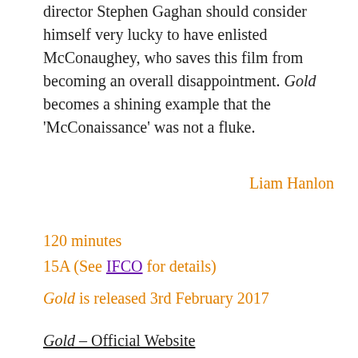director Stephen Gaghan should consider himself very lucky to have enlisted McConaughey, who saves this film from becoming an overall disappointment. Gold becomes a shining example that the 'McConaissance' was not a fluke.
Liam Hanlon
120 minutes
15A (See IFCO for details)
Gold is released 3rd February 2017
Gold – Official Website